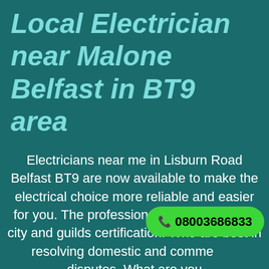Local Electrician near Malone Belfast in BT9 area
Electricians near me in Lisburn Road Belfast BT9 are now available to make the electrical choice more reliable and easier for you. The professional electricians with city and guilds certification. Who are best in resolving domestic and commercial disputes. What are you
📞 08003686833